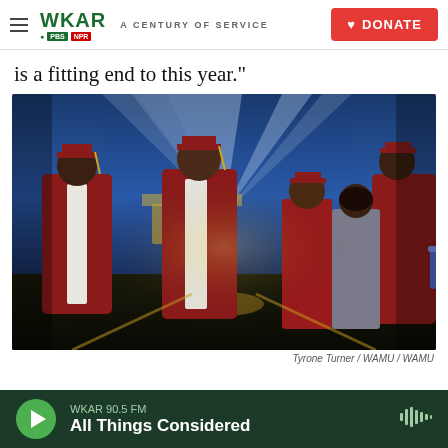WKAR A CENTURY OF SERVICE | DONATE
is a fitting end to this year."
[Figure (photo): Graduates in dark red/maroon caps and gowns with white stoles standing outdoors at night, with bright light beams in background. Several non-graduating people standing nearby. Photo credit: Tyrone Turner / WAMU / WAMU]
Tyrone Turner / WAMU / WAMU
WKAR 90.5 FM — All Things Considered